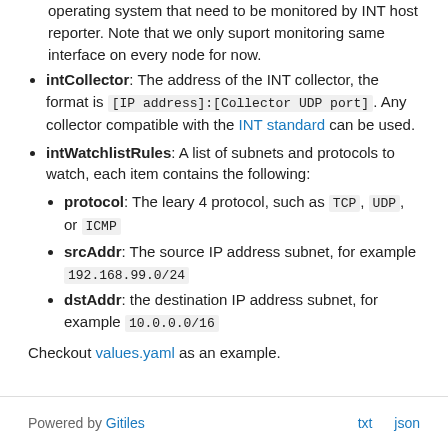operating system that need to be monitored by INT host reporter. Note that we only suport monitoring same interface on every node for now.
intCollector: The address of the INT collector, the format is [IP address]:[Collector UDP port]. Any collector compatible with the INT standard can be used.
intWatchlistRules: A list of subnets and protocols to watch, each item contains the following:
protocol: The leary 4 protocol, such as TCP, UDP, or ICMP
srcAddr: The source IP address subnet, for example 192.168.99.0/24
dstAddr: the destination IP address subnet, for example 10.0.0.0/16
Checkout values.yaml as an example.
Powered by Gitiles  txt  json